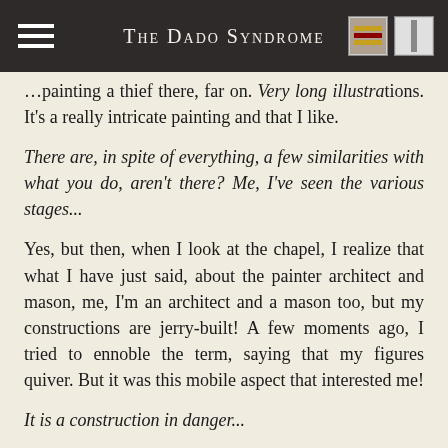The Dado Syndrome
…painting a thief there, far on. Very long illustra­tions. It's a really intricate painting and that I like.
There are, in spite of everything, a few similarities with what you do, aren't there? Me, I've seen the various stages...
Yes, but then, when I look at the chapel, I realize that what I have just said, about the painter architect and mason, me, I'm an architect and a mason too, but my constructions are jerry-built! A few moments ago, I tried to ennoble the term, saying that my figures quiver. But it was this mobile aspect that interested me!
It is a construction in danger...
That's it, in suspension. They are thrown out, like. In